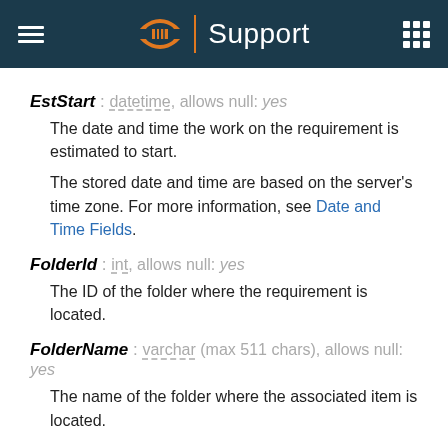Support
EstStart : datetime, allows null: yes
The date and time the work on the requirement is estimated to start.
The stored date and time are based on the server's time zone. For more information, see Date and Time Fields.
FolderId : int, allows null: yes
The ID of the folder where the requirement is located.
FolderName : varchar (max 511 chars), allows null: yes
The name of the folder where the associated item is located.
FunctionalSpecId : int, allows null: no
The ID of the requirement. It equals FuncSpecId .